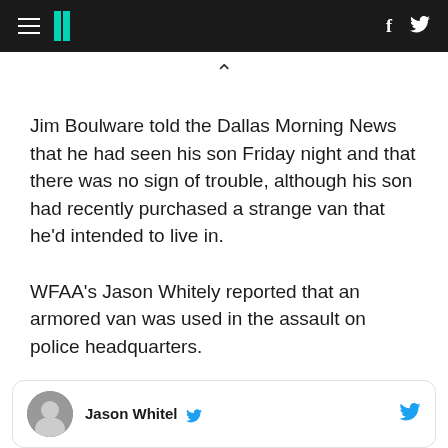HuffPost navigation bar with hamburger menu, logo, Facebook and Twitter icons
Jim Boulware told the Dallas Morning News that he had seen his son Friday night and that there was no sign of trouble, although his son had recently purchased a strange van that he'd intended to live in.
WFAA's Jason Whitely reported that an armored van was used in the assault on police headquarters.
[Figure (screenshot): Partial tweet card showing avatar photo and name Jason Whitit with Twitter bird icon]